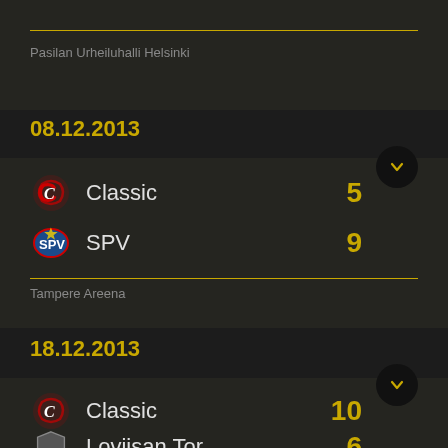Pasilan Urheiluhalli Helsinki
08.12.2013
| Team | Score |
| --- | --- |
| Classic | 5 |
| SPV | 9 |
Tampere Areena
18.12.2013
| Team | Score |
| --- | --- |
| Classic | 10 |
| Loviisan Tor | 6 |